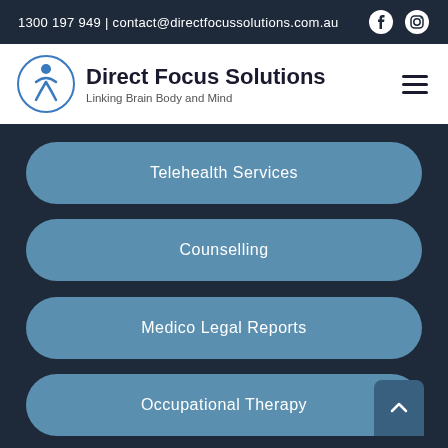1300 197 949 | contact@directfocussolutions.com.au
Direct Focus Solutions
Linking Brain Body and Mind
Telehealth Services
Counselling
Medico Legal Reports
Occupational Therapy